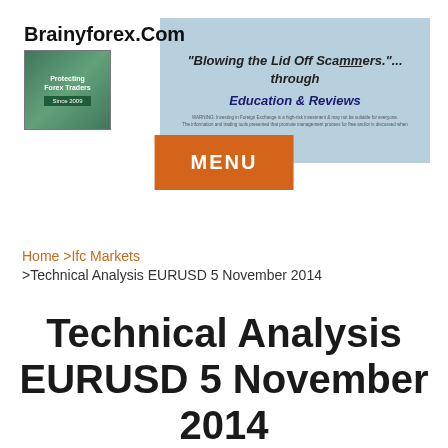Brainyforex.Com — "Blowing the Lid Off Scammers."... through Education & Reviews
MENU
Home >Ifc Markets >Technical Analysis EURUSD 5 November 2014
Technical Analysis EURUSD 5 November 2014